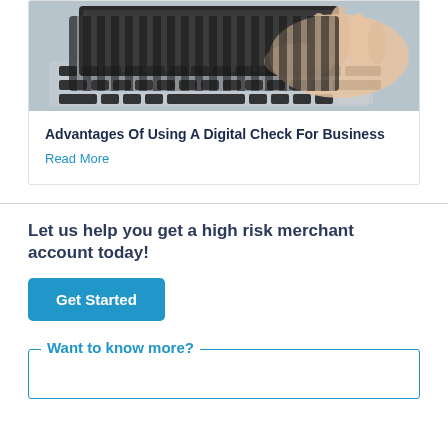[Figure (photo): Person's hand typing on a laptop keyboard, viewed from above, silver laptop with black keys]
Advantages Of Using A Digital Check For Business
Read More
Let us help you get a high risk merchant account today!
Get Started
Want to know more?